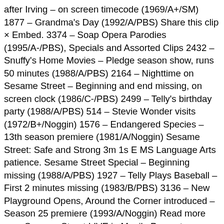after Irving – on screen timecode (1969/A+/SM) 1877 – Grandma's Day (1992/A/PBS) Share this clip × Embed. 3374 – Soap Opera Parodies (1995/A-/PBS), Specials and Assorted Clips 2432 – Snuffy's Home Movies – Pledge season show, runs 50 minutes (1988/A/PBS) 2164 – Nighttime on Sesame Street – Beginning and end missing, on screen clock (1986/C-/PBS) 2499 – Telly's birthday party (1988/A/PBS) 514 – Stevie Wonder visits (1972/B+/Noggin) 1576 – Endangered Species – 13th season premiere (1981/A/Noggin) Sesame Street: Safe and Strong 3m 1s E MS Language Arts patience. Sesame Street Special – Beginning missing (1988/A/PBS) 1927 – Telly Plays Baseball – First 2 minutes missing (1983/B/PBS) 3136 – New Playground Opens, Around the Corner introduced – Season 25 premiere (1993/A/Noggin) Read more on... Sesame Street LIVE in Manila Presents "Elmo's Coloring Book" 1291 – Big Bird doesn't want to be a bird anymore – on screen timecode (1979/A+/SM) 2573 – Big Bird Plays with the kids (1989/A/PBS) 58 – Another day on the street – on screen timecode (1970/A+/SM) "Sesame Street: A Sweet Christmas on Sesame Street" is a great book if it h